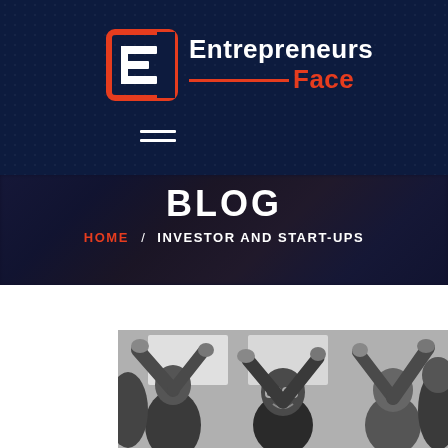[Figure (logo): Entrepreneurs Face logo with red bracket icon, white 'Entrepreneurs' text and red 'Face' text with red horizontal line]
[Figure (screenshot): Hamburger menu icon (three horizontal white lines) on dark navy background]
BLOG
HOME / INVESTOR AND START-UPS
[Figure (photo): Black and white photo of a group of people celebrating with raised hands and high fives]